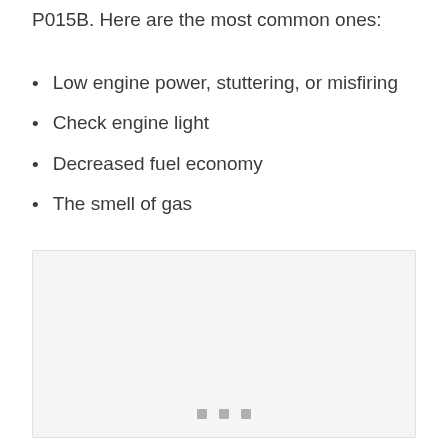P015B. Here are the most common ones:
Low engine power, stuttering, or misfiring
Check engine light
Decreased fuel economy
The smell of gas
[Figure (photo): Image placeholder with loading indicator (three small dots at bottom center)]